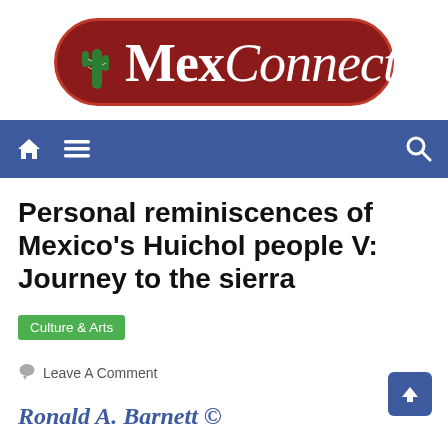[Figure (logo): MexConnect logo: dark red pill-shaped banner with green cactus icon on the left, bold white 'Mex' followed by italic white 'Connect']
[Figure (screenshot): Blue navigation bar with home icon, hamburger menu icon, and search (magnifying glass) icon on the right]
Personal reminiscences of Mexico’s Huichol people V: Journey to the sierra
Culture & Arts
Leave A Comment
Ronald A. Barnett ©